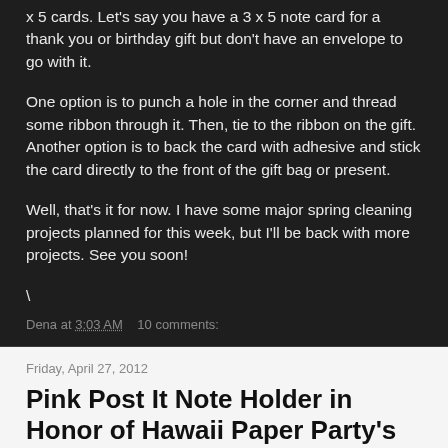x 5 cards.  Let's say you have a 3 x 5 note card for a thank you or birthday gift but don't have an envelope to go with it.
One option is to punch a hole in the corner and thread some ribbon through it.  Then, tie to the ribbon on the gift.  Another option is to back the card with adhesive and stick the card directly to the front of the gift bag or present.
Well, that's it for now.  I have some major spring cleaning projects planned for this week, but I'll be back with more projects.  See you soon!
\
Dena at 3:03 AM    10 comments:
Friday, April 27, 2012
Pink Post It Note Holder in Honor of Hawaii Paper Party's 1st Blogaversary!